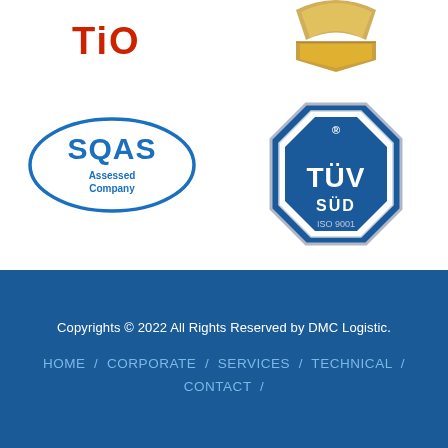[Figure (logo): TiO logo in red text]
[Figure (logo): Gold/bronze award badge with decorative ribbon at top]
[Figure (logo): SQAS Assessed Company logo with blue ellipse and text]
[Figure (logo): TUV SUD ISO 9001 certification badge - blue octagon shape]
Copyrights © 2022 All Rights Reserved by DMC Logistic.
HOME / CORPORATE / SERVICES / TECHNICAL / CONTACT /